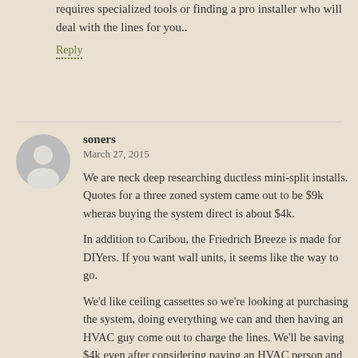requires specialized tools or finding a pro installer who will deal with the lines for you..
Reply
soners
March 27, 2015
We are neck deep researching ductless mini-split installs. Quotes for a three zoned system came out to be $9k wheras buying the system direct is about $4k.
In addition to Caribou, the Friedrich Breeze is made for DIYers. If you want wall units, it seems like the way to go.
We'd like ceiling cassettes so we're looking at purchasing the system, doing everything we can and then having an HVAC guy come out to charge the lines. We'll be saving $4k even after considering paying an HVAC person and an electrician to run a 220 line for us–plus we get to do it our way (no ugly line chases up the front of our house, thank you).
One last thing–our electric company offers a